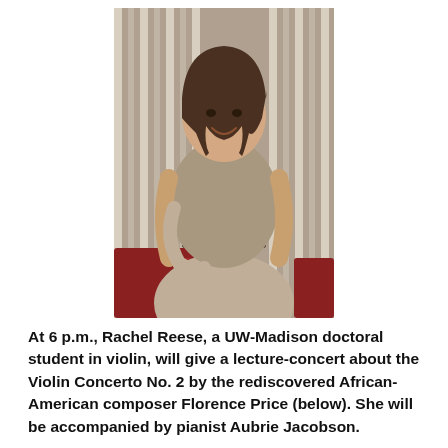[Figure (photo): Portrait photo of Rachel Reese, a young woman with dark hair, smiling, wearing a grey-brown sleeveless dress with a dark belt, standing in front of a background with vertical rope-like elements and red objects.]
At 6 p.m., Rachel Reese, a UW-Madison doctoral student in violin, will give a lecture-concert about the Violin Concerto No. 2 by the rediscovered African-American composer Florence Price (below). She will be accompanied by pianist Aubrie Jacobson.